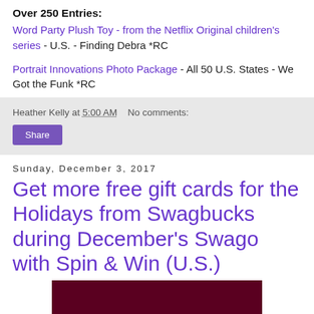Over 250 Entries:
Word Party Plush Toy - from the Netflix Original children's series - U.S. - Finding Debra *RC
Portrait Innovations Photo Package - All 50 U.S. States - We Got the Funk *RC
Heather Kelly at 5:00 AM   No comments:
Share
Sunday, December 3, 2017
Get more free gift cards for the Holidays from Swagbucks during December's Swago with Spin & Win (U.S.)
[Figure (photo): Dark maroon/red image placeholder at bottom of page]